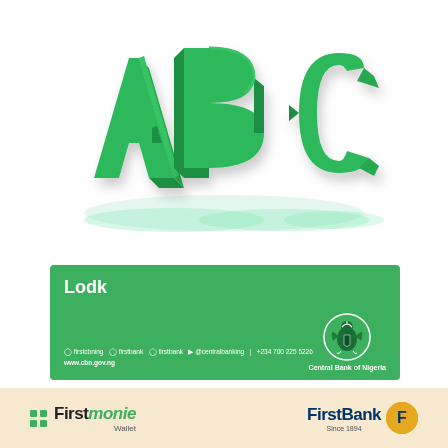[Figure (illustration): 3D green block letters A, B, C arranged in perspective on a white/light-teal reflective surface]
[Figure (infographic): Green banner with white text 'Lodk', social media icons and links at bottom left, CBN Central Bank of Nigeria logo/seal at bottom right]
[Figure (logo): Firstmonie Wallet logo — green dot grid, 'First' in black bold, 'monie' in green italic, 'Wallet' subtitle]
[Figure (logo): FirstBank logo — 'FirstBank' in dark blue bold text with orange/gold circular icon, 'Since 1894' subtitle]